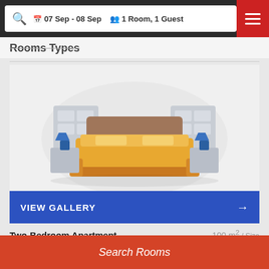07 Sep - 08 Sep  1 Room, 1 Guest
Rooms Types
[Figure (illustration): Illustration of a hotel room with a double bed (golden/yellow colored), two blue bedside lamps on nightstands, and grey furniture in the background on a light grey circular backdrop]
VIEW GALLERY →
Two-Bedroom Apartment  100 m² / Size
Max Guest: 4 persons
Room Type: Apartment
Search Rooms